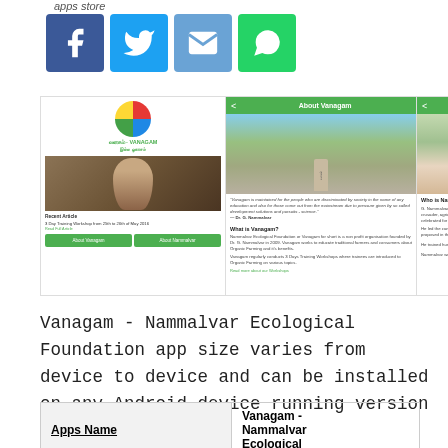apps store
[Figure (screenshot): Share icons: Facebook (blue), Twitter (light blue), Email (blue), WhatsApp (green)]
[Figure (screenshot): App screenshots showing Vanagam - Nammalvar Ecological Foundation app screens: home screen with logo and elder photo, About Vanagam screen with road/stone image and text, About Nammalvar screen with elder photo and bio text, and Programs screen with elder photos and website text]
Vanagam - Nammalvar Ecological Foundation app size varies from device to device and can be installed on any Android device running version 4.1 and up.
| Apps Name | Vanagam - Nammalvar Ecological |
| --- | --- |